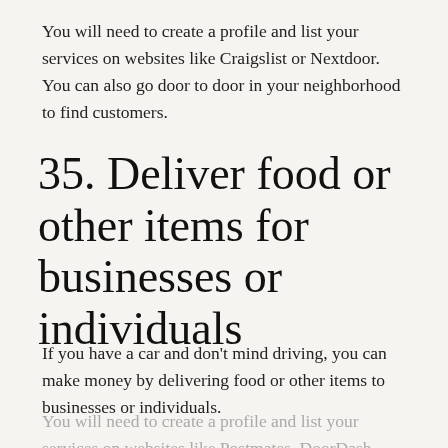You will need to create a profile and list your services on websites like Craigslist or Nextdoor. You can also go door to door in your neighborhood to find customers.
35. Deliver food or other items for businesses or individuals
If you have a car and don't mind driving, you can make money by delivering food or other items to businesses or individuals.
You will need to create a profile and list your services on websites like Postmates, DoorDash,